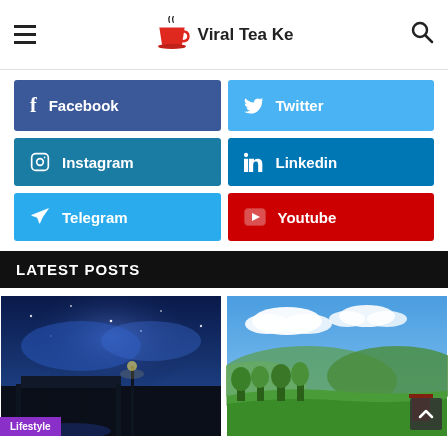Viral Tea Ke
[Figure (infographic): Social media follow buttons: Facebook, Twitter, Instagram, Linkedin, Telegram, Youtube]
LATEST POSTS
[Figure (photo): Night scene with blue sky and silhouette of a building/structure]
[Figure (photo): Aerial landscape with green hills, trees, and blue sky with clouds]
Lifestyle